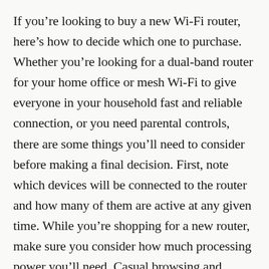If you’re looking to buy a new Wi-Fi router, here’s how to decide which one to purchase. Whether you’re looking for a dual-band router for your home office or mesh Wi-Fi to give everyone in your household fast and reliable connection, or you need parental controls, there are some things you’ll need to consider before making a final decision. First, note which devices will be connected to the router and how many of them are active at any given time. While you’re shopping for a new router, make sure you consider how much processing power you’ll need. Casual browsing and constant file transfers, for example, require less processing power than gaming or constant file transfer.